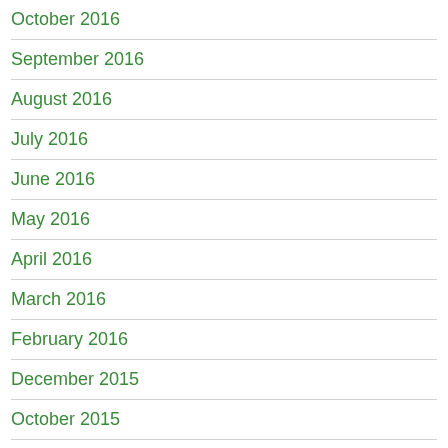October 2016
September 2016
August 2016
July 2016
June 2016
May 2016
April 2016
March 2016
February 2016
December 2015
October 2015
September 2015
June 2015